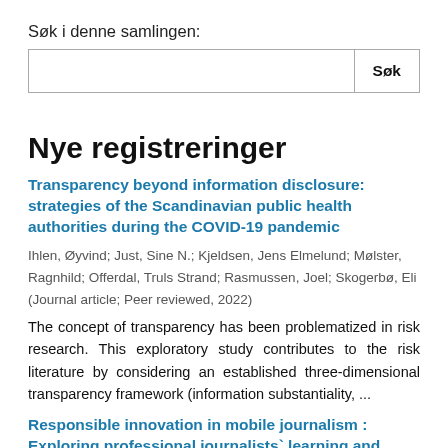Søk i denne samlingen:
Søk
Nye registreringer
Transparency beyond information disclosure: strategies of the Scandinavian public health authorities during the COVID-19 pandemic
Ihlen, Øyvind; Just, Sine N.; Kjeldsen, Jens Elmelund; Mølster, Ragnhild; Offerdal, Truls Strand; Rasmussen, Joel; Skogerbø, Eli (Journal article; Peer reviewed, 2022)
The concept of transparency has been problematized in risk research. This exploratory study contributes to the risk literature by considering an established three-dimensional transparency framework (information substantiality, ...
Responsible innovation in mobile journalism : Exploring professional journalists` learning and